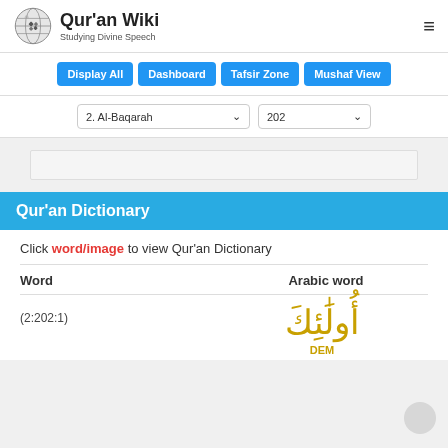[Figure (logo): Qur'an Wiki globe logo with text 'Qur'an Wiki - Studying Divine Speech']
Qur'an Wiki - Studying Divine Speech
Display All | Dashboard | Tafsir Zone | Mushaf View
2. Al-Baqarah  202
Qur'an Dictionary
Click word/image to view Qur'an Dictionary
| Word | Arabic word |
| --- | --- |
| (2:202:1) | أُولَٰئِكَ  DEM |